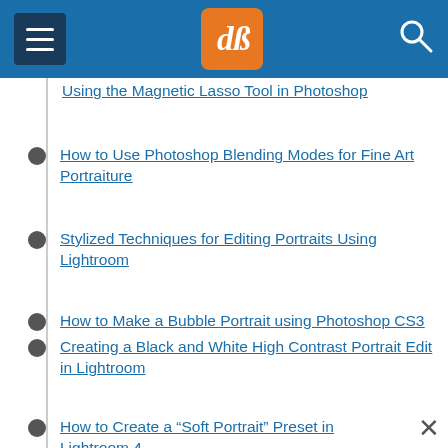dPS navigation header
Using the Magnetic Lasso Tool in Photoshop
How to Use Photoshop Blending Modes for Fine Art Portraiture
Stylized Techniques for Editing Portraits Using Lightroom
How to Make a Bubble Portrait using Photoshop CS3
Creating a Black and White High Contrast Portrait Edit in Lightroom
How to Create a “Soft Portrait” Preset in Lightroom 4